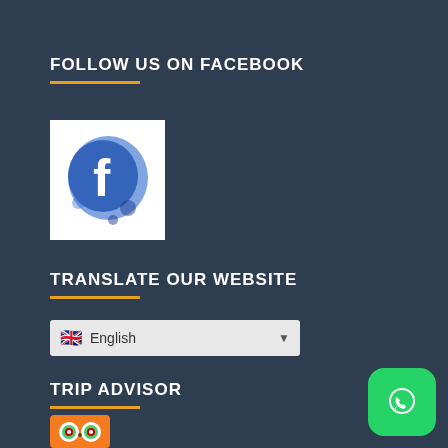FOLLOW US ON FACEBOOK
[Figure (logo): Facebook logo with watercolor splash style on white background]
TRANSLATE OUR WEBSITE
[Figure (screenshot): Language selector dropdown showing English with UK flag]
TRIP ADVISOR
[Figure (logo): TripAdvisor owl logo on orange background]
[Figure (logo): WhatsApp icon on green rounded square background]